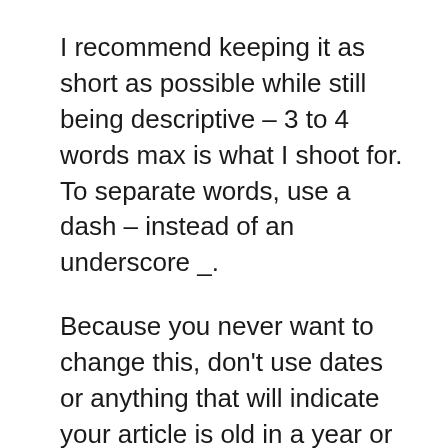I recommend keeping it as short as possible while still being descriptive – 3 to 4 words max is what I shoot for. To separate words, use a dash – instead of an underscore _.
Because you never want to change this, don't use dates or anything that will indicate your article is old in a year or two.
Write Your Heart Out
Write your blog post.